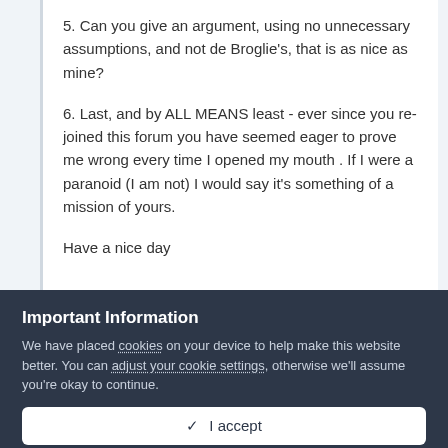5. Can you give an argument, using no unnecessary assumptions, and not de Broglie's, that is as nice as mine?
6. Last, and by ALL MEANS least - ever since you re-joined this forum you have seemed eager to prove me wrong every time I opened my mouth . If I were a paranoid (I am not) I would say it's something of a mission of yours.
Have a nice day
Important Information
We have placed cookies on your device to help make this website better. You can adjust your cookie settings, otherwise we'll assume you're okay to continue.
✓  I accept